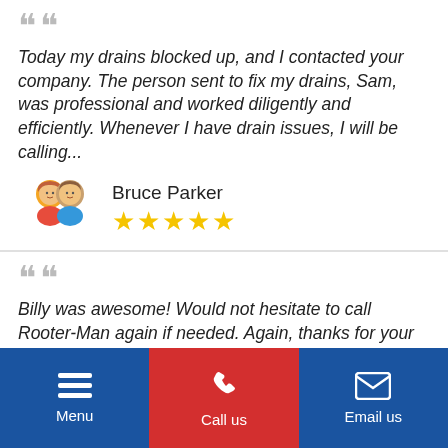Today my drains blocked up, and I contacted your company. The person sent to fix my drains, Sam, was professional and worked diligently and efficiently. Whenever I have drain issues, I will be calling...
[Figure (illustration): Couple avatar icon for reviewer Bruce Parker]
Bruce Parker ★★★★★
Billy was awesome! Would not hesitate to call Rooter-Man again if needed. Again, thanks for your help. -Joe Antonuccio, Billerica, MA
[Figure (illustration): Couple avatar icon for reviewer Joe Antonuccio]
Joe Antonuccio ★★★★★
Menu | Call us | Email us